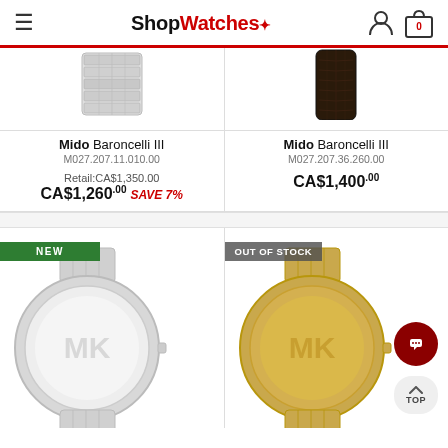ShopWatches
[Figure (photo): Metal bracelet watch top portion - Mido Baroncelli III]
[Figure (photo): Dark leather strap watch top portion - Mido Baroncelli III]
Mido Baroncelli III M027.207.11.010.00
Mido Baroncelli III M027.207.36.260.00
Retail:CA$1,350.00 CA$1,260.00 SAVE 7%
CA$1,400.00
[Figure (photo): Silver tone watch with MK logo - labeled NEW]
[Figure (photo): Gold tone watch with MK logo - labeled OUT OF STOCK]